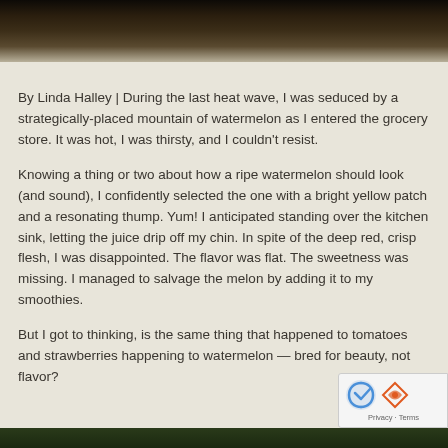[Figure (photo): Dark wooden texture photo cropped at the top of the page, showing weathered dark wood grain with some lighter tones at the bottom.]
By Linda Halley | During the last heat wave, I was seduced by a strategically-placed mountain of watermelon as I entered the grocery store. It was hot, I was thirsty, and I couldn't resist.
Knowing a thing or two about how a ripe watermelon should look (and sound), I confidently selected the one with a bright yellow patch and a resonating thump. Yum! I anticipated standing over the kitchen sink, letting the juice drip off my chin. In spite of the deep red, crisp flesh, I was disappointed. The flavor was flat. The sweetness was missing. I managed to salvage the melon by adding it to my smoothies.
But I got to thinking, is the same thing that happened to tomatoes and strawberries happening to watermelon — bred for beauty, not flavor?
[Figure (photo): Partial photo visible at the very bottom of the page, dark green tones suggesting plant or watermelon imagery.]